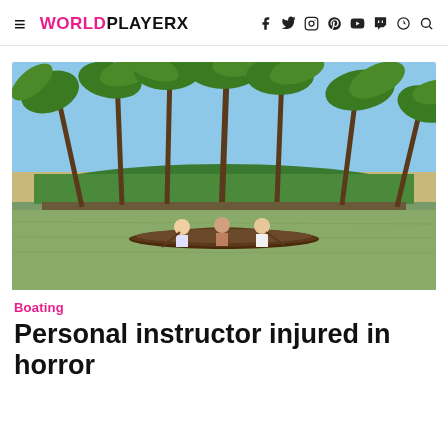WORLDPLAYERX
[Figure (photo): A traditional wooden canoe with three people paddling on a calm river backwater, with tall coconut palm trees and lush greenery in the background under a blue sky.]
Boating
Personal instructor injured in horror